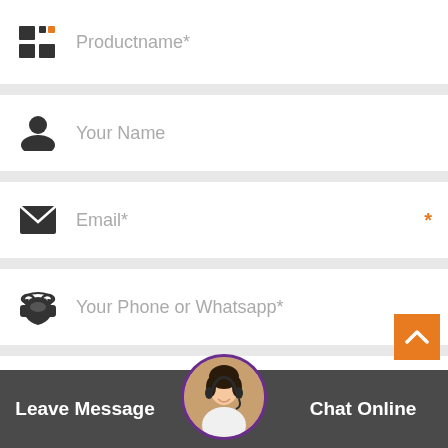[Figure (screenshot): Contact form UI with fields: Productname*, Your Name, Email*, Your Phone or Whatsapp*, and a message textarea. Bottom bar with Leave Message and Chat Online buttons with customer service avatar.]
Productname*
Your Name
Email*
Your Phone or Whatsapp*
Please fill in here the products you need information
Leave Message
Chat Online